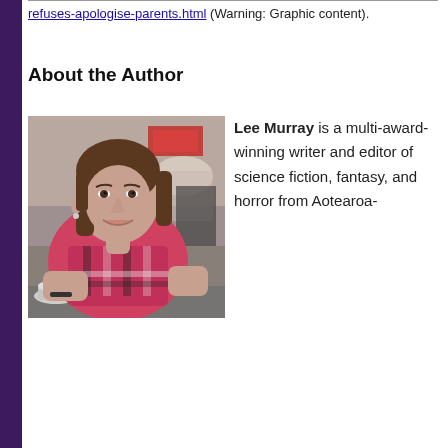refuses-apologise-parents.html (Warning: Graphic content).
About the Author
[Figure (photo): Photograph of author Lee Murray, a woman with shoulder-length brown hair, wearing a colorful red and navy patterned top, seated at a café table, smiling, with a blurred urban background.]
Lee Murray is a multi-award-winning writer and editor of science fiction, fantasy, and horror from Aotearoa-